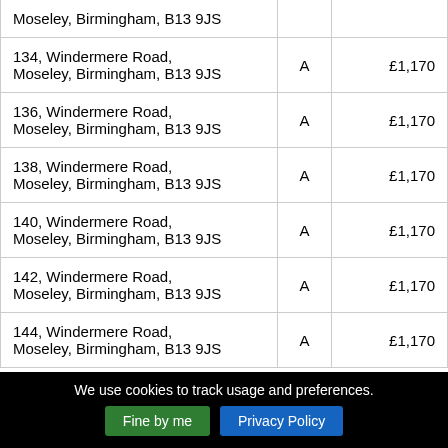| Address | Band | Price |
| --- | --- | --- |
| [partial] Moseley, Birmingham, B13 9JS | A | £1,170 |
| 134, Windermere Road, Moseley, Birmingham, B13 9JS | A | £1,170 |
| 136, Windermere Road, Moseley, Birmingham, B13 9JS | A | £1,170 |
| 138, Windermere Road, Moseley, Birmingham, B13 9JS | A | £1,170 |
| 140, Windermere Road, Moseley, Birmingham, B13 9JS | A | £1,170 |
| 142, Windermere Road, Moseley, Birmingham, B13 9JS | A | £1,170 |
| 144, Windermere Road, Moseley, Birmingham, B13 9JS [partial] | A | £1,170 |
We use cookies to track usage and preferences. Fine by me | Privacy Policy